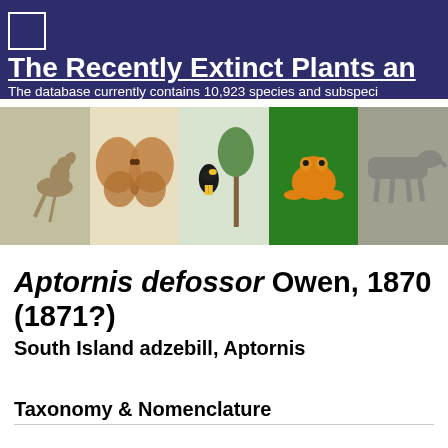The Recently Extinct Plants an...
The database currently contains 10,923 species and subspeci...
[Figure (photo): Horizontal strip of animal/species images: kangaroo, moth, bird with tree, golden poison frog, thylacine]
Aptornis defossor Owen, 1870 (1871?)
South Island adzebill, Aptornis
Taxonomy & Nomenclature